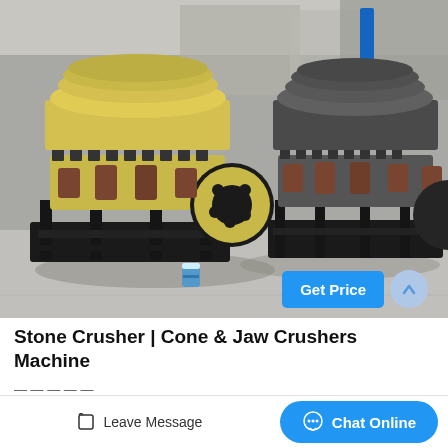[Figure (photo): Two large cone crusher machines (one yellow/tan, one gray) sitting on black steel frames inside an industrial warehouse/factory. A small blue and white container sits on the floor between them. The machines have large circular bodies, springs around the middle section, and a large flywheel visible on the yellow unit.]
Get Price
Stone Crusher | Cone & Jaw Crushers Machine
Leave Message
Chat Online